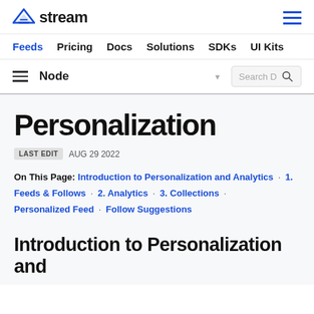stream — Feeds | Pricing | Docs | Solutions | SDKs | UI Kits
Node — Search D
Personalization
LAST EDIT  AUG 29 2022
On This Page: Introduction to Personalization and Analytics · 1. Feeds & Follows · 2. Analytics · 3. Collections · Personalized Feed · Follow Suggestions
Introduction to Personalization and